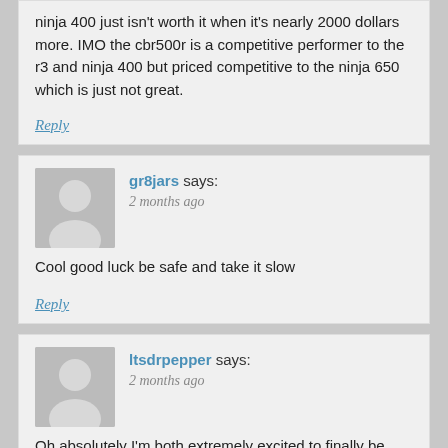ninja 400 just isn't worth it when it's nearly 2000 dollars more. IMO the cbr500r is a competitive performer to the r3 and ninja 400 but priced competitive to the ninja 650 which is just not great.
Reply
gr8jars says:
2 months ago
Cool good luck be safe and take it slow
Reply
ltsdrpepper says:
2 months ago
Oh absolutely I'm both extremely excited to finally be financially in a place to get one and terrified to get on one after 4 years.